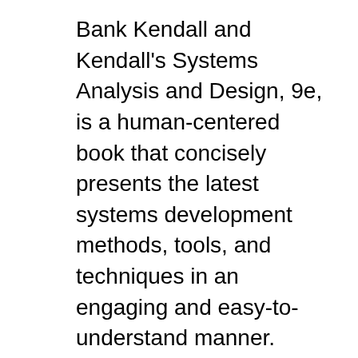Bank Kendall and Kendall's Systems Analysis and Design, 9e, is a human-centered book that concisely presents the latest systems development methods, tools, and techniques in an engaging and easy-to-understand manner.
systems analysis and design ninth edition kendall systems analysis and design ninth edition kendall sat, 10 nov 2018 21:19:00 gmt systems analysis and design ninth pdf - about the e-book systems analysis systems analysis and design - gbv systemsanalysis anddesign ninth edition kennethe. kendall rutgers university schoolofbusiness-camden camden, newjersey julie o. kendall pT l